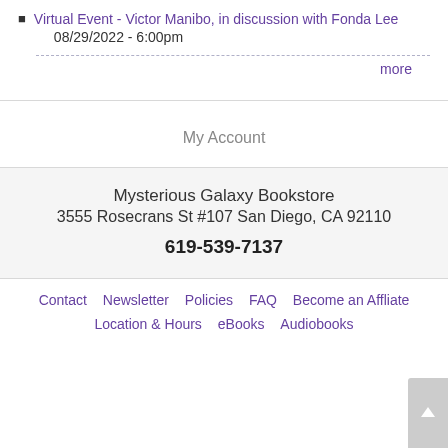Virtual Event - Victor Manibo, in discussion with Fonda Lee 08/29/2022 - 6:00pm
more
My Account
Mysterious Galaxy Bookstore
3555 Rosecrans St #107 San Diego, CA 92110
619-539-7137
Contact  Newsletter  Policies  FAQ  Become an Affliate  Location & Hours  eBooks  Audiobooks